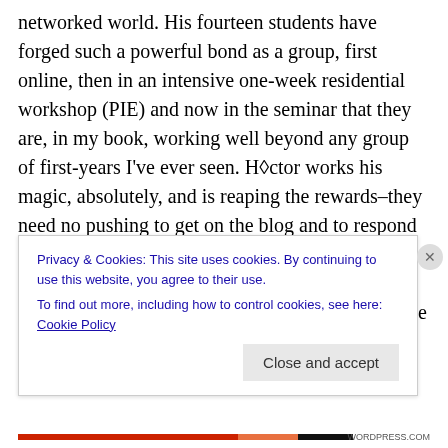networked world. His fourteen students have forged such a powerful bond as a group, first online, then in an intensive one-week residential workshop (PIE) and now in the seminar that they are, in my book, working well beyond any group of first-years I've ever seen. Héctor works his magic, absolutely, and is reaping the rewards–they need no pushing to get on the blog and to respond carefully, respectfully, and fully–they call themselves on missing opportunities within their posts, even. I am floored and find it hard to believe that anyone looking on at this classroom hasn't seen the effectiveness of such an
Privacy & Cookies: This site uses cookies. By continuing to use this website, you agree to their use.
To find out more, including how to control cookies, see here: Cookie Policy